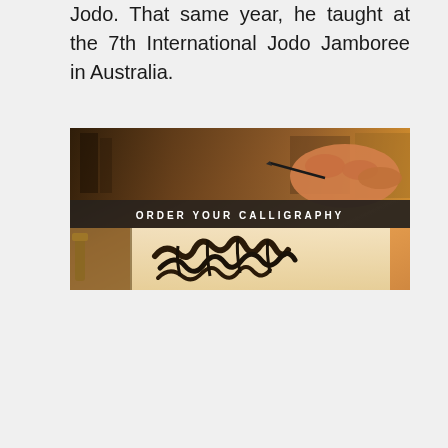Jodo. That same year, he taught at the 7th International Jodo Jamboree in Australia.
[Figure (photo): A close-up photograph of a person's hand using a calligraphy pen/nib to write calligraphic script on white paper. The background shows shelves with art supplies. A dark banner in the middle of the image reads 'ORDER YOUR CALLIGRAPHY' in white spaced capital letters. The lower portion shows ornate calligraphic script written in dark ink on the paper.]